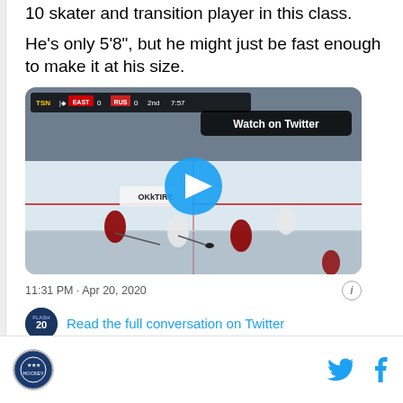10 skater and transition player in this class.
He's only 5'8", but he might just be fast enough to make it at his size.
[Figure (screenshot): Embedded Twitter video of a hockey game showing a scoreboard with TSN, EAST 0, RUS 0, 2nd period 7:57. A play button is overlaid. A 'Watch on Twitter' label appears in the upper right.]
11:31 PM · Apr 20, 2020
Read the full conversation on Twitter
[Figure (logo): Site logo in footer]
[Figure (logo): Twitter and Facebook social icons in footer]